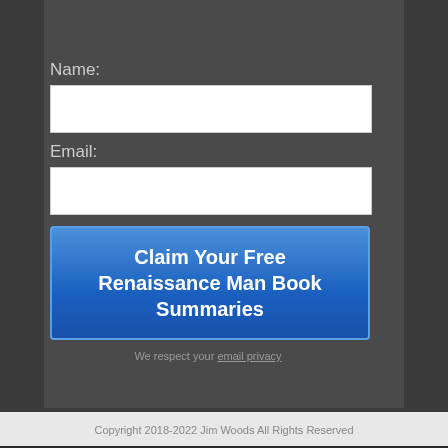[Figure (logo): Renaissance Man banner with stylized face/logo on the left and gold text 'RENAISSANCE MAN' on dark background]
Name:
[Figure (other): Empty text input field for Name]
Email:
[Figure (other): Empty text input field for Email]
[Figure (other): Blue button: Claim Your Free Renaissance Man Book Summaries]
We respect your email privacy
Copyright 2018-2022 Jim Woods All Rights Reserved